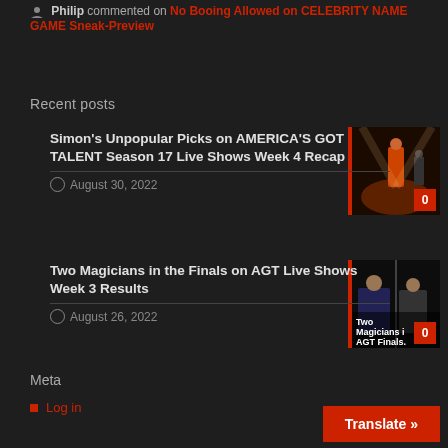Philip commented on No Booing Allowed on CELEBRITY NAME GAME Sneak-Preview
Recent posts
Simon's Unpopular Picks on AMERICA'S GOT TALENT Season 17 Live Shows Week 4 Recap
August 30, 2022
[Figure (photo): Thumbnail image of a performer on stage with red lighting, badge showing 0 comments]
Two Magicians in the Finals on AGT Live Shows Week 3 Results
August 26, 2022
[Figure (photo): Thumbnail image showing two magicians with text overlay 'Two Magicians in AGT Finals.' and badge showing 0 comments]
Meta
Log in
Entries feed